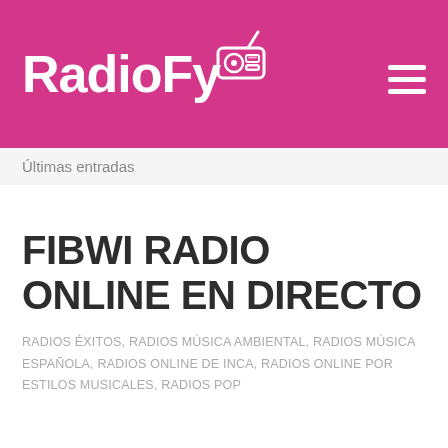RadioFy
Últimas entradas
FIBWI RADIO ONLINE EN DIRECTO
RADIOS ÉXITOS, RADIOS MÚSICA AMBIENTAL, RADIOS MÚSICA ESPAÑOLA, RADIOS ONLINE DE INCA, RADIOS ONLINE POR ESTILOS MUSICALES, RADIOS POP